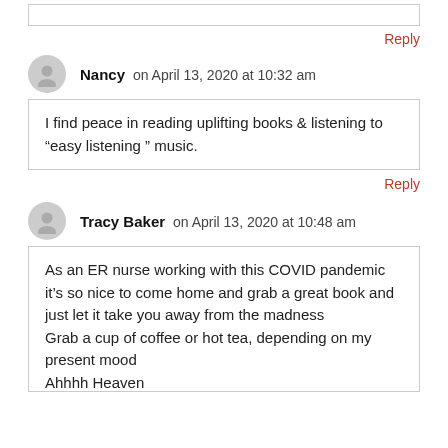[comment box top partial]
Reply
Nancy on April 13, 2020 at 10:32 am
I find peace in reading uplifting books & listening to “easy listening ” music.
Reply
Tracy Baker on April 13, 2020 at 10:48 am
As an ER nurse working with this COVID pandemic it’s so nice to come home and grab a great book and just let it take you away from the madness
Grab a cup of coffee or hot tea, depending on my present mood
Ahhhh Heaven